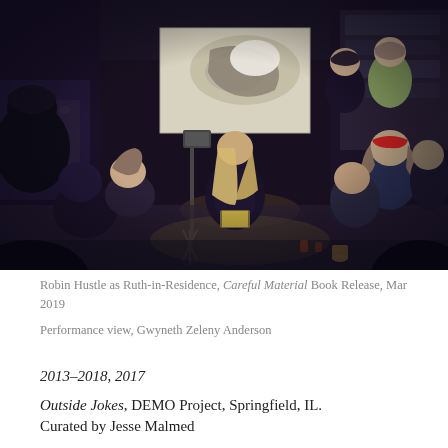[Figure (photo): Indoor night scene of a group of people sitting in a circle in a cluttered warehouse or garage space, watching a presentation on a projector screen. A person with long blonde hair sits centrally facing the screen; others sit on the floor and on chairs around the room. The projector shows an abstract black and white image. The room is dimly lit with various shelves and items visible in the background.]
Robin Hustle as Ruth-in-Residence, Careful Material Book Release, Mar 2019
Performance view, Gwyneth Zeleny Anderson
2013–2018, 2017
Outside Jokes, DEMO Project, Springfield, IL. Curated by Jesse Malmed